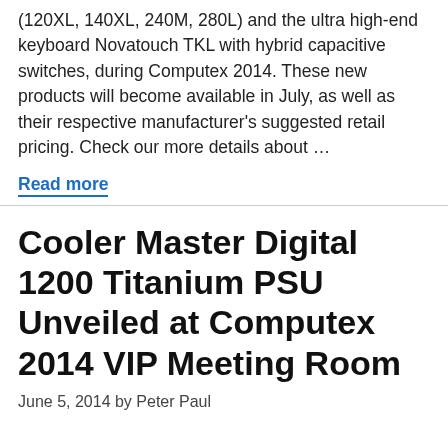(120XL, 140XL, 240M, 280L) and the ultra high-end keyboard Novatouch TKL with hybrid capacitive switches, during Computex 2014. These new products will become available in July, as well as their respective manufacturer's suggested retail pricing. Check our more details about …
Read more
Cooler Master Digital 1200 Titanium PSU Unveiled at Computex 2014 VIP Meeting Room
June 5, 2014 by Peter Paul